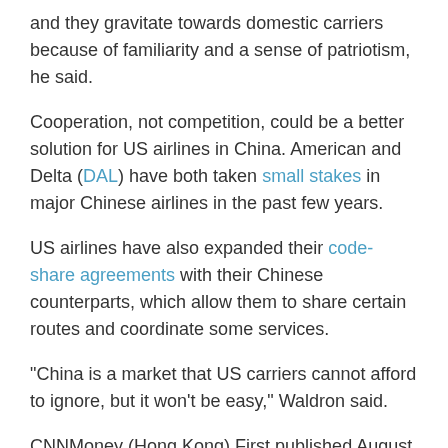and they gravitate towards domestic carriers because of familiarity and a sense of patriotism, he said.
Cooperation, not competition, could be a better solution for US airlines in China. American and Delta (DAL) have both taken small stakes in major Chinese airlines in the past few years.
US airlines have also expanded their code-share agreements with their Chinese counterparts, which allow them to share certain routes and coordinate some services.
“China is a market that US carriers cannot afford to ignore, but it won’t be easy,” Waldron said.
CNNMoney (Hong Kong) First published August 28, 2018: 7:19 AM ET
RELATED POSTS
WHO INSPIRES YOU? NOMINATE THEM TO BE A